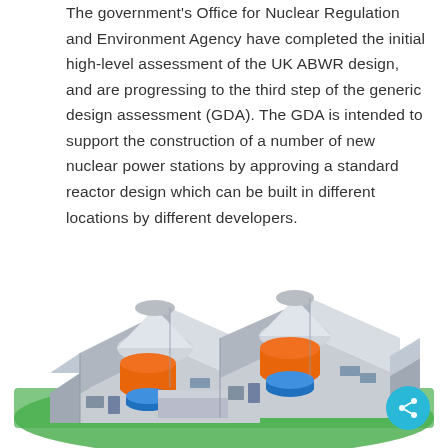The government's Office for Nuclear Regulation and Environment Agency have completed the initial high-level assessment of the UK ABWR design, and are progressing to the third step of the generic design assessment (GDA). The GDA is intended to support the construction of a number of new nuclear power stations by approving a standard reactor design which can be built in different locations by different developers.
[Figure (illustration): Cutaway 3D illustration of a UK Advanced Boiling Water Reactor (ABWR) nuclear power station showing internal reactor components, turbine hall, and containment structures. The building is shown in an isometric cutaway view with orange reactor vessels, blue cooling pools, and grey structural elements on a green site.]